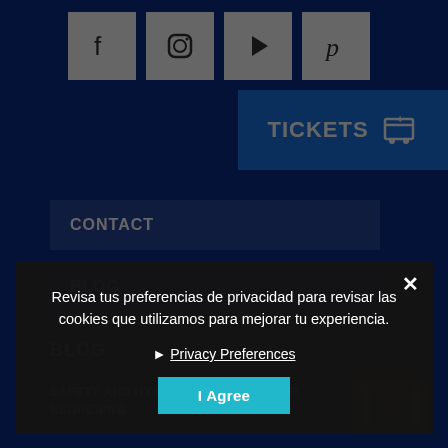[Figure (other): Row of four social media icon buttons (Facebook, Instagram, Play/YouTube, Pinterest) as white square tiles on dark blue background]
[Figure (other): Tickets button with shopping cart icon on bright blue background]
CONTACT
BLOG
BLOG
SAFETY AND HYGIENE MEASURES FOR REOPENING
[Figure (photo): Small thumbnail of outdoor scene]
5 ORIGINAL ACTIVITIES TO ENJOY SUMMER IN BARCELONA
16 January, 2...
Revisa tus preferencias de privacidad para revisar las cookies que utilizamos para mejorar tu experiencia.
Privacy Preferences
I Agree